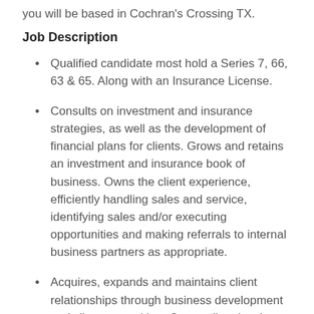you will be based in Cochran's Crossing TX.
Job Description
Qualified candidate most hold a Series 7, 66, 63 & 65. Along with an Insurance License.
Consults on investment and insurance strategies, as well as the development of financial plans for clients. Grows and retains an investment and insurance book of business. Owns the client experience, efficiently handling sales and service, identifying sales and/or executing opportunities and making referrals to internal business partners as appropriate.
Acquires, expands and maintains client relationships through business development and client networking. Grows client loyalty and share of wallet through an exceptional client experience. Applies product and procedural knowledge to solve client problems appropriately and efficiently.